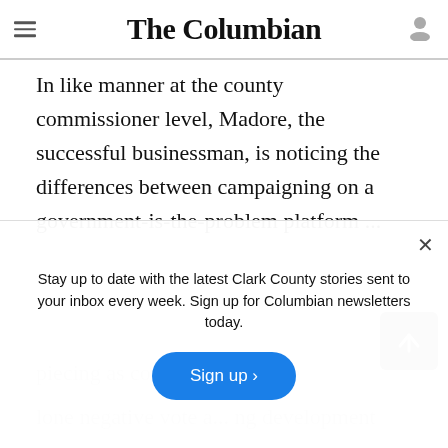The Columbian
In like manner at the county commissioner level, Madore, the successful businessman, is noticing the differences between campaigning on a government-is-the-problem platform ...
lone negative vote a... ng development
Stay up to date with the latest Clark County stories sent to your inbox every week. Sign up for Columbian newsletters today.